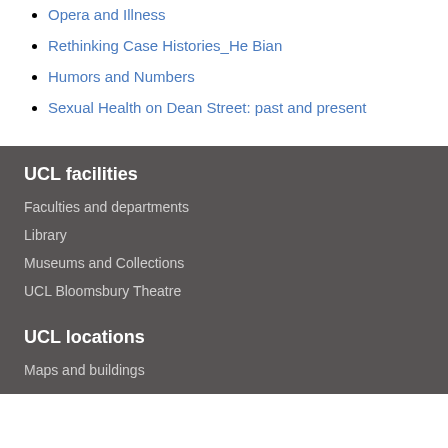Opera and Illness
Rethinking Case Histories_He Bian
Humors and Numbers
Sexual Health on Dean Street: past and present
UCL facilities
Faculties and departments
Library
Museums and Collections
UCL Bloomsbury Theatre
UCL locations
Maps and buildings